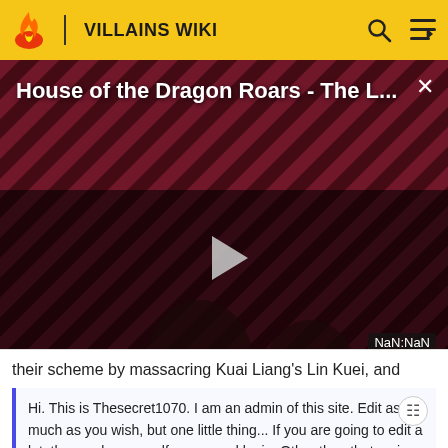VILLAINS WIKI
[Figure (screenshot): Video thumbnail for 'House of the Dragon Roars - The L...' on The Loop with diagonal stripe background in dark red/maroon and a play button. Timestamp shows NaN:NaN.]
their scheme by massacring Kuai Liang's Lin Kuei, and
Hi. This is Thesecret1070. I am an admin of this site. Edit as much as you wish, but one little thing... If you are going to edit a lot, then make yourself a user and login. Other than that, enjoy Villains Wiki!!!